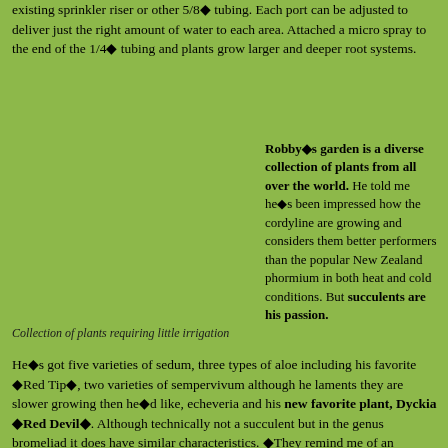existing sprinkler riser or other 5/8◆ tubing. Each port can be adjusted to deliver just the right amount of water to each area. Attached a micro spray to the end of the 1/4◆ tubing and plants grow larger and deeper root systems.
Robby◆s garden is a diverse collection of plants from all over the world. He told me he◆s been impressed how the cordyline are growing and considers them better performers than the popular New Zealand phormium in both heat and cold conditions. But succulents are his passion. He◆s got five varieties of sedum, three types of aloe including his favorite ◆Red Tip◆, two varieties of sempervivum although he laments they are slower growing then he◆d like, echeveria and his new favorite plant, Dyckia ◆Red Devil◆. Although technically not a succulent but in the genus bromeliad it does have similar characteristics. ◆They remind me of an underwater scene◆,
Collection of plants requiring little irrigation
[Figure (photo): Green garden area with collection of plants requiring little irrigation, shown as background]